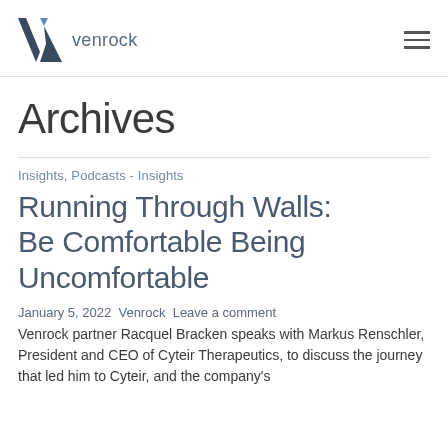venrock
Archives
Insights, Podcasts - Insights
Running Through Walls: Be Comfortable Being Uncomfortable
January 5, 2022 Venrock Leave a comment
Venrock partner Racquel Bracken speaks with Markus Renschler, President and CEO of Cyteir Therapeutics, to discuss the journey that led him to Cyteir, and the company's